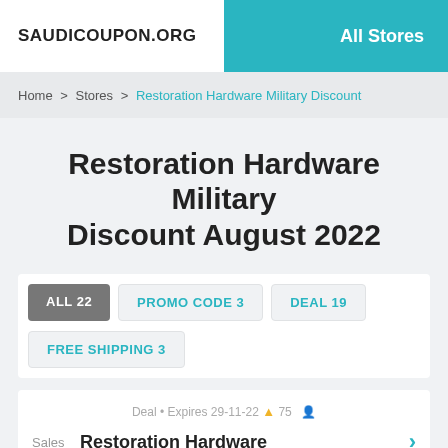SAUDICOUPON.ORG | All Stores
Home > Stores > Restoration Hardware Military Discount
Restoration Hardware Military Discount August 2022
ALL 22   PROMO CODE 3   DEAL 19   FREE SHIPPING 3
Deal • Expires 29-11-22 🔔 75 👤
Sales   Restoration Hardware